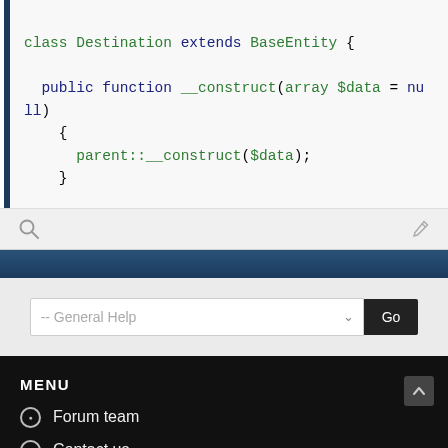[Figure (screenshot): Code block showing PHP class Destination extends BaseEntity with public function __construct(array $data = null) { parent::__construct($data); }]
[Figure (screenshot): Search bar with magnifying glass icon on left and pencil/edit icon on right, dark blue navigation bar below]
[Figure (screenshot): Help dropdown selector showing '-- General Help' with a Go button]
MENU
Forum team
Contact us